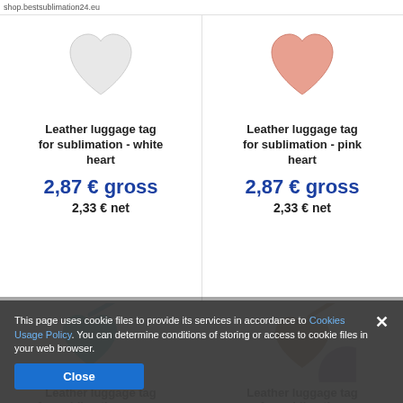shop.bestsublimation24.eu
[Figure (photo): White heart-shaped leather luggage tag for sublimation, top portion visible]
Leather luggage tag for sublimation - white heart
2,87 € gross
2,33 € net
[Figure (photo): Pink heart-shaped leather luggage tag for sublimation, top portion visible]
Leather luggage tag for sublimation - pink heart
2,87 € gross
2,33 € net
[Figure (photo): Teal/green heart-shaped leather luggage tag for sublimation, partially visible at bottom]
Leather luggage tag for sublimation - green
[Figure (photo): Brown/tan heart-shaped leather luggage tag for sublimation, partially visible at bottom]
Leather luggage tag for sublimation
This page uses cookie files to provide its services in accordance to Cookies Usage Policy. You can determine conditions of storing or access to cookie files in your web browser.
Close